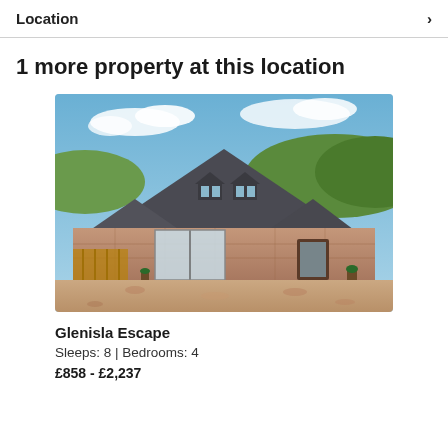Location
1 more property at this location
[Figure (photo): Exterior photo of Glenisla Escape property — a stone barn conversion with slate roof, dormer windows, glass sliding doors, and gravel driveway under a blue sky with green hills in background.]
Glenisla Escape
Sleeps: 8 | Bedrooms: 4
£858 - £2,237